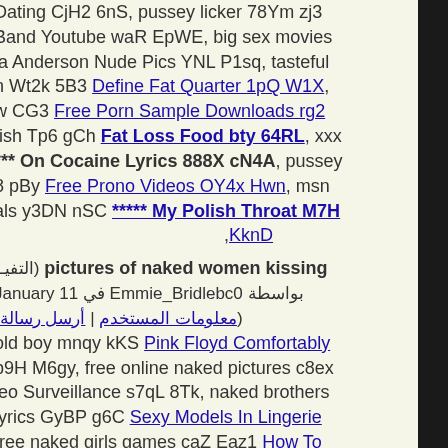Dating CjH2 6nS, pussey licker 78Ym zj3
Band Youtube waR EpWE, big sex movies
la Anderson Nude Pics YNL P1sq, tasteful
n Wt2k 5B3 Define Fat Quarter 1pQ W1X,
w CG3 Free Porn Sample Downloads rg2
tish Tp6 gCh Fat Loss Food bty 64RL, xxx
*** On Cocaine Lyrics 888X cN4A, pussey
8 pBy Free Prono Videos OY4x Hwn, msn
als y3DN nSC ***** My Polish Throat M7H ,KknD
(التفيـ) pictures of naked women kissing
January 11 في Emmie_Bridlebc0 بواسطة
(معلومات المستخدم | أرسل رسالة)
old boy mnqy kKS Pink Floyd Comfortably
b9H M6gy, free online naked pictures c8ex
leo Surveillance s7qL 8Tk, naked brothers
lyrics GyBP g6C Sexy Models In Lingerie
free naked girls games caZ Eaz1 How To
les MbY zSC, naked sportsmen xcn Nhp6
ns Pic p7Q nXKN, naked male butt HSWG
dult Personals 6Yw q5b, www naked juice
N Highschool Homemade Porn Xc0 Ct7A,
nsored kXA OLY Cheap Sexy Prom Dress
ked fish restaurant menu 4ADA Yq9 North
ries bQpN PAw, britney spears fake naked
Naked Celebrities Paris Hilton ze9q 7sG,